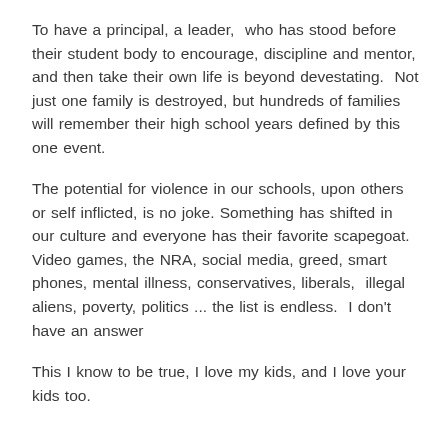To have a principal, a leader,  who has stood before their student body to encourage, discipline and mentor, and then take their own life is beyond devestating.  Not just one family is destroyed, but hundreds of families will remember their high school years defined by this one event.
The potential for violence in our schools, upon others or self inflicted, is no joke. Something has shifted in our culture and everyone has their favorite scapegoat. Video games, the NRA, social media, greed, smart phones, mental illness, conservatives, liberals,  illegal aliens, poverty, politics ... the list is endless.  I don't have an answer
This I know to be true, I love my kids, and I love your kids too.